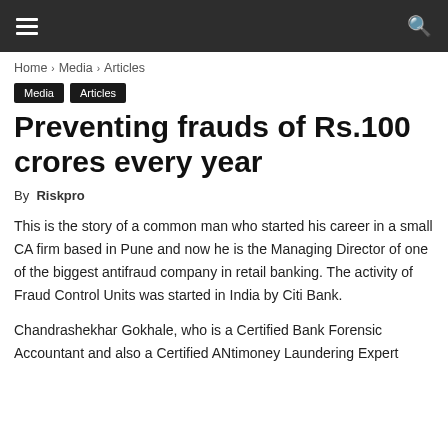≡  🔍
Home › Media › Articles
Media
Articles
Preventing frauds of Rs.100 crores every year
By Riskpro
This is the story of a common man who started his career in a small CA firm based in Pune and now he is the Managing Director of one of the biggest antifraud company in retail banking. The activity of Fraud Control Units was started in India by Citi Bank.
Chandrashekhar Gokhale, who is a Certified Bank Forensic Accountant and also a Certified ANtimoney Laundering Expert